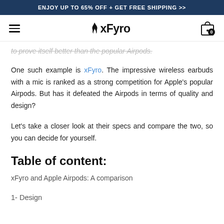ENJOY UP TO 65% OFF + GET FREE SHIPPING >>
[Figure (logo): xFyro logo with flame icon and hamburger menu, cart icon on right]
to prove itself better than the popular Airpods.
One such example is xFyro. The impressive wireless earbuds with a mic is ranked as a strong competition for Apple's popular Airpods. But has it defeated the Airpods in terms of quality and design?
Let's take a closer look at their specs and compare the two, so you can decide for yourself.
Table of content:
xFyro and Apple Airpods: A comparison
1- Design